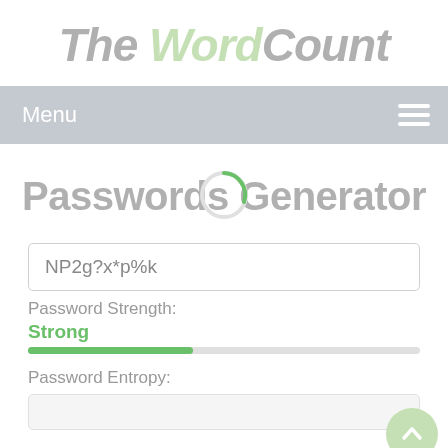The WordCount
Menu
Passwords Generator
NP2g?x*p%k
Password Strength:
Strong
Password Entropy: